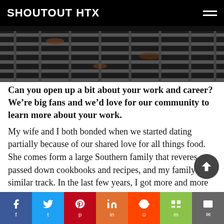SHOUTOUT HTX
[Figure (photo): Close-up photo of a dark metal grill grate with food scraps, overhead view.]
Can you open up a bit about your work and career? We’re big fans and we’d love for our community to learn more about your work.
My wife and I both bonded when we started dating partially because of our shared love for all things food. She comes form a large Southern family that reveres passed down cookbooks and recipes, and my family has a similar track. In the last few years, I got more and more into BBQ, Southern classics recipes, and other home food hobbies like pickling, growing chili peppers, making homeade hot
f  t  p  in  reddit  m  email